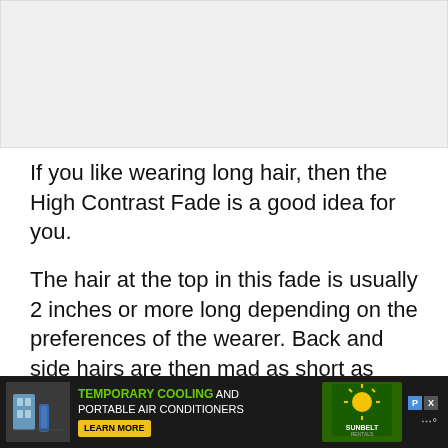[Figure (photo): Photo placeholder area at top of page, light gray background]
If you like wearing long hair, then the High Contrast Fade is a good idea for you.
The hair at the top in this fade is usually 2 inches or more long depending on the preferences of the wearer. Back and side hairs are then mad as short as possible.
#35 Debonair Fade
[Figure (photo): Advertisement banner at bottom: Temporary Cooling and Portable Air Conditioners, Sunbelt Rentals]